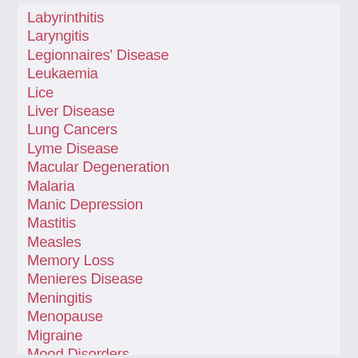Labyrinthitis
Laryngitis
Legionnaires' Disease
Leukaemia
Lice
Liver Disease
Lung Cancers
Lyme Disease
Macular Degeneration
Malaria
Manic Depression
Mastitis
Measles
Memory Loss
Menieres Disease
Meningitis
Menopause
Migraine
Mood Disorders
Multiple Sclerosis
Myocardial Infarction
Neck pain